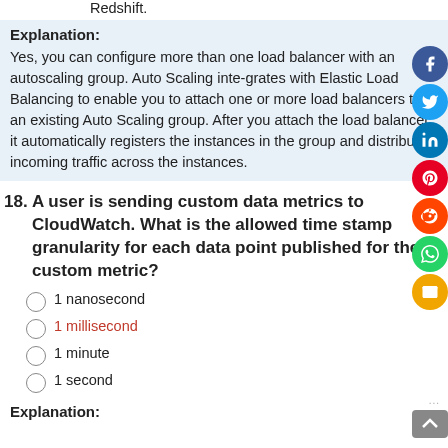Redshift.
Explanation:
Yes, you can configure more than one load balancer with an autoscaling group. Auto Scaling inte-grates with Elastic Load Balancing to enable you to attach one or more load balancers to an existing Auto Scaling group. After you attach the load balancer, it automatically registers the instances in the group and distributes incoming traffic across the instances.
18. A user is sending custom data metrics to CloudWatch. What is the allowed time stamp granularity for each data point published for the custom metric?
1 nanosecond
1 millisecond
1 minute
1 second
Explanation: